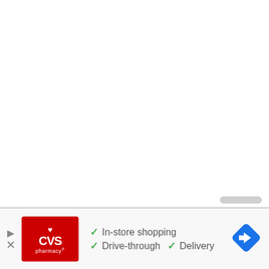[Figure (screenshot): Mostly blank white area representing a webpage content region with a gray scrollbar hint in the lower right corner]
[Figure (infographic): CVS Pharmacy advertisement banner showing CVS Pharmacy logo (red background with white heart and CVS text), green checkmarks with feature text: In-store shopping, Drive-through, Delivery, and a blue navigation diamond icon on the right]